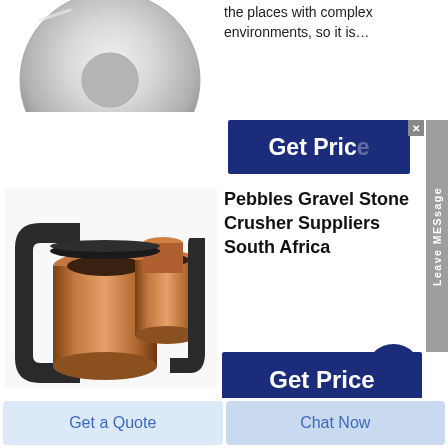[Figure (photo): Partial view of a metallic disc/ring component, silver colored, shown at top left]
the places with complex environments, so it is…
[Figure (other): Dark navy blue button with text 'Get Price' partially visible]
[Figure (photo): Copper/bronze bushing components - multiple cylindrical metal parts grouped together]
Pebbles Gravel Stone Crusher Suppliers South Africa
[Figure (other): Circular navy blue button with upward arrow icon]
Dec 19, 2013Pebbles Gravel Stone Crusher Suppliers South Africa....
[Figure (other): Dark navy blue button with text 'Get Price']
Get a Quote
Chat Now